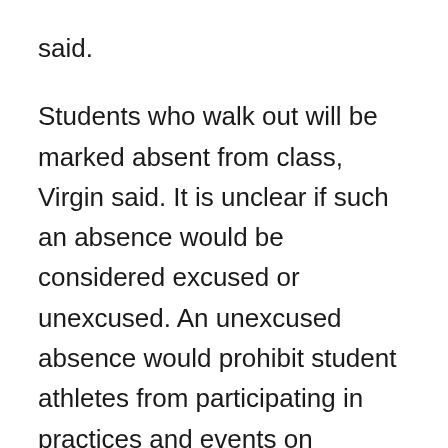said.
Students who walk out will be marked absent from class, Virgin said. It is unclear if such an absence would be considered excused or unexcused. An unexcused absence would prohibit student athletes from participating in practices and events on Monday.
Students who spoke with EPLN said that they understood that the absences would be excused if they returned to school when the event ends.